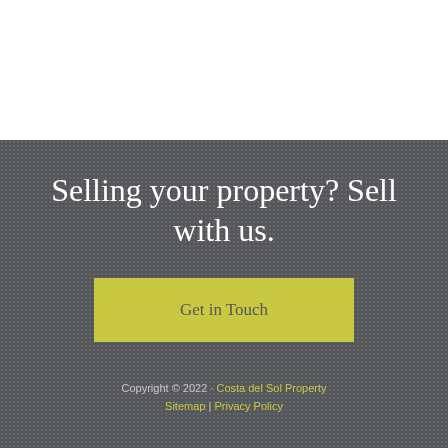Selling your property? Sell with us.
Get in Touch
Copyright © 2022 · Costa del Sol Property
Sitemap | Privacy Policy